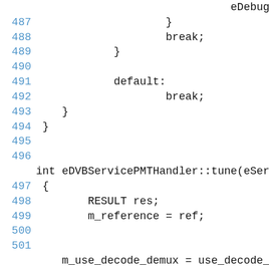eDebug("sdt u
487                     }
488                     break;
489             }
490
491             default:
492                     break;
493     }
494 }
495
496
int eDVBServicePMTHandler::tune(eServiceRefere
497 {
498         RESULT res;
499         m_reference = ref;
500
501
m_use_decode_demux = use_decode_demux
502
503